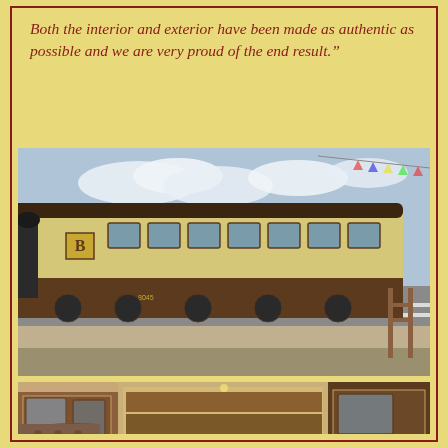Both the interior and exterior have been made as authentic as possible and we are very proud of the end result.”
[Figure (photo): Exterior view of a restored vintage railway carriage at a station platform. The carriage is painted in cream and brown livery with the letter B visible on its side. A station building is visible in the background.]
[Figure (photo): Interior view of a restored vintage railway carriage showing dark wood paneling, ornate ceiling, tufted leather seating, and period-appropriate fittings and mirrors.]